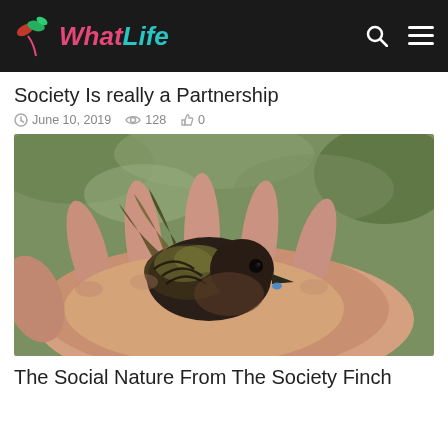What Life
Society Is really a Partnership
June 10, 2019  128  0
[Figure (photo): A small finch bird resting in the palm of a human hand, showing detailed feathers in brown, black and olive-green tones, with a seed near its beak. Background is blurred green foliage.]
The Social Nature From The Society Finch